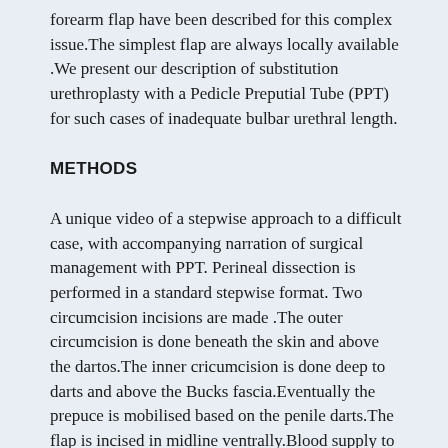forearm flap have been described for this complex issue.The simplest flap are always locally available .We present our description of substitution urethroplasty with a Pedicle Preputial Tube (PPT) for such cases of inadequate bulbar urethral length.
METHODS
A unique video of a stepwise approach to a difficult case, with accompanying narration of surgical management with PPT. Perineal dissection is performed in a standard stepwise format. Two circumcision incisions are made .The outer circumcision is done beneath the skin and above the dartos.The inner cricumcision is done deep to darts and above the Bucks fascia.Eventually the prepuce is mobilised based on the penile darts.The flap is incised in midline ventrally.Blood supply to this flap comes from dorsal vessels. The prepuce is mobilized into the perineum on the dartos flap. The Inner Prepuce is tubularized and utilized to